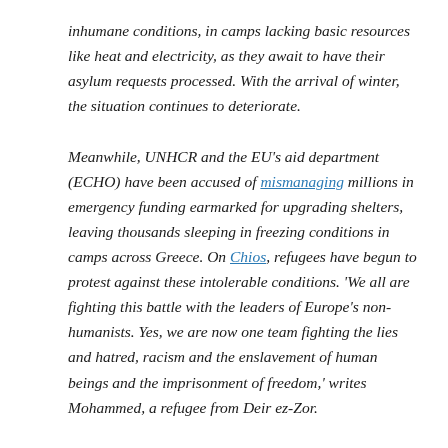inhumane conditions, in camps lacking basic resources like heat and electricity, as they await to have their asylum requests processed. With the arrival of winter, the situation continues to deteriorate.

Meanwhile, UNHCR and the EU's aid department (ECHO) have been accused of mismanaging millions in emergency funding earmarked for upgrading shelters, leaving thousands sleeping in freezing conditions in camps across Greece. On Chios, refugees have begun to protest against these intolerable conditions. 'We all are fighting this battle with the leaders of Europe's non-humanists. Yes, we are now one team fighting the lies and hatred, racism and the enslavement of human beings and the imprisonment of freedom,' writes Mohammed, a refugee from Deir ez-Zor.